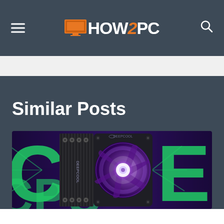HOW2PC website header with hamburger menu, logo, and search icon
Similar Posts
[Figure (photo): CPU cooler product photo showing a Deepcool fan with purple RGB lighting and green neon text letters 'CPU' and 'ER' in the background on a dark purple/blue background]